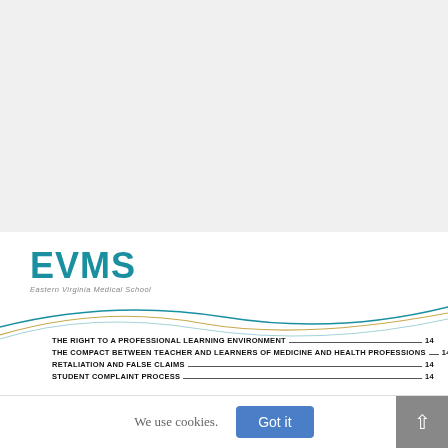[Figure (logo): EVMS Eastern Virginia Medical School logo with teal lettering]
[Figure (illustration): Decorative wave lines in teal and gold arching across the page]
THE RIGHT TO A PROFESSIONAL LEARNING ENVIRONMENT  14
THE COMPACT BETWEEN TEACHER AND LEARNERS OF MEDICINE AND HEALTH PROFESSIONS  14
RETALIATION AND FALSE CLAIMS  14
STUDENT COMPLAINT PROCESS  14